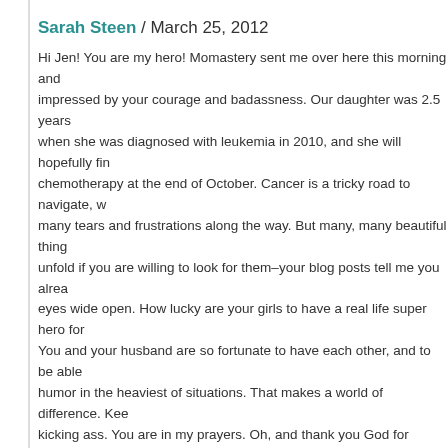Sarah Steen / March 25, 2012
Hi Jen! You are my hero! Momastery sent me over here this morning and impressed by your courage and badassness. Our daughter was 2.5 years when she was diagnosed with leukemia in 2010, and she will hopefully fin chemotherapy at the end of October. Cancer is a tricky road to navigate, w many tears and frustrations along the way. But many, many beautiful thing unfold if you are willing to look for them–your blog posts tell me you alrea eyes wide open. How lucky are your girls to have a real life super hero for You and your husband are so fortunate to have each other, and to be able humor in the heaviest of situations. That makes a world of difference. Kee kicking ass. You are in my prayers. Oh, and thank you God for awesome c
the joyful potter / March 25, 2012
You do rock. Were you like this before, or did this crisis solidify something I'd love to have that resolve toward optimism just in the everyday variety o
Jana / March 25, 2012
I am one of those complete and total "strangers" and I am WITH YOU!!!! Lo